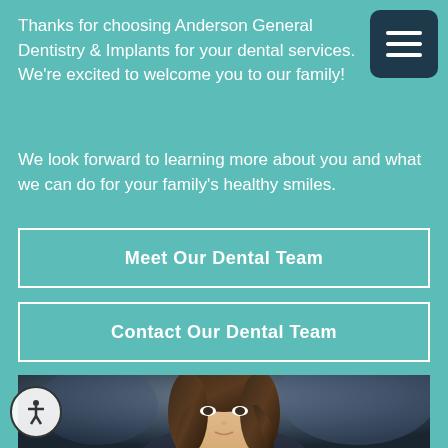Thanks for choosing Anderson General Dentistry & Implants for your dental services. We're excited to welcome you to our family!
We look forward to learning more about you and what we can do for your family's healthy smiles.
Meet Our Dental Team
Contact Our Dental Team
[Figure (photo): Professional headshot photo of a woman with long dark hair against a blurred dark background]